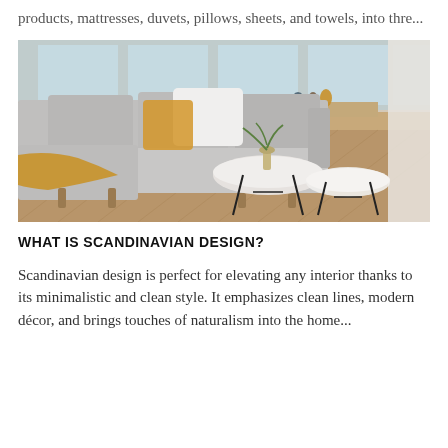products, mattresses, duvets, pillows, sheets, and towels, into thre...
[Figure (photo): A Scandinavian-style living room featuring a light grey L-shaped sectional sofa with white and yellow cushions and a yellow throw blanket, wooden legs, two round white marble-top side tables with black metal frames, a plant in a vase on the table, and a wooden parquet floor with large windows and white curtains in the background.]
WHAT IS SCANDINAVIAN DESIGN?
Scandinavian design is perfect for elevating any interior thanks to its minimalistic and clean style. It emphasizes clean lines, modern décor, and brings touches of naturalism into the home...